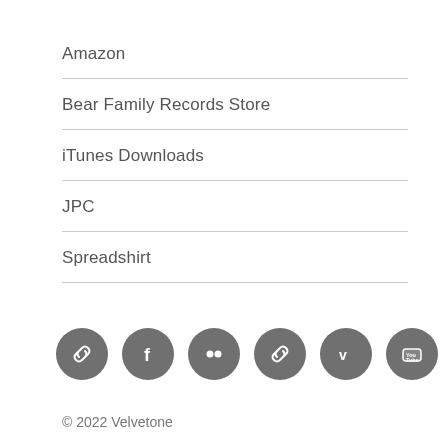Amazon
Bear Family Records Store
iTunes Downloads
JPC
Spreadshirt
[Figure (infographic): Row of 6 circular social media / link icon buttons in dark grey]
© 2022 Velvetone